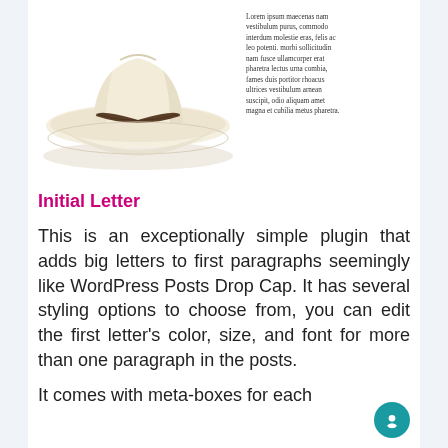[Figure (photo): A straw fedora hat with a dark brown band, photographed on a white background.]
Lorem ipsum maecenas nam vestibulum purus, commodo interdum molestie eras, felis ac leo potenti. morbi sollicitudin nam fusce ullamcorper erat pharetra lectus urna combia, fames duis portitor rhoacus ultrices vestibulum arnean suscipit, odio aliquam amet magna et cubilia metus pharetra.
Initial Letter
This is an exceptionally simple plugin that adds big letters to first paragraphs seemingly like WordPress Posts Drop Cap. It has several styling options to choose from, you can edit the first letter's color, size, and font for more than one paragraph in the posts.
It comes with meta-boxes for each